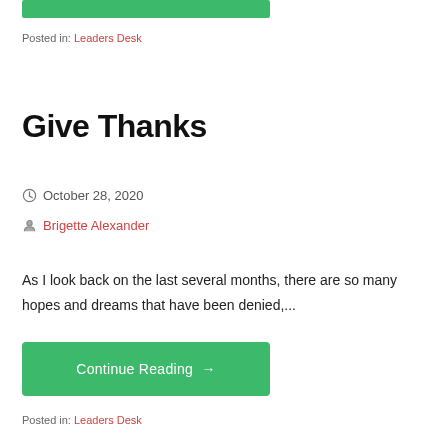[Figure (other): Green horizontal bar at top]
Posted in: Leaders Desk
Give Thanks
October 28, 2020
Brigette Alexander
As I look back on the last several months, there are so many hopes and dreams that have been denied,...
Continue Reading →
Posted in: Leaders Desk